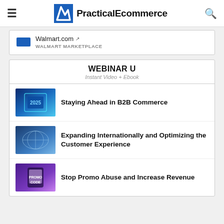PracticalEcommerce
Walmart.com
WALMART MARKETPLACE
WEBINAR U
Instant Video + Ebook
Staying Ahead in B2B Commerce
Expanding Internationally and Optimizing the Customer Experience
Stop Promo Abuse and Increase Revenue